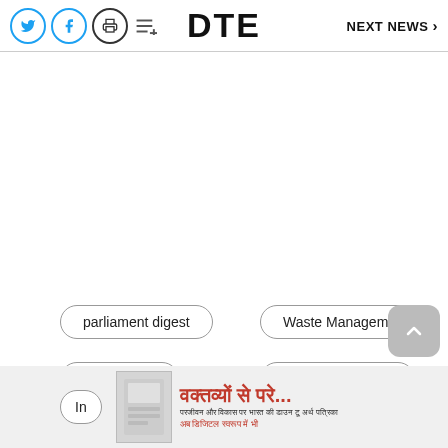DTE | NEXT NEWS
parliament digest
Waste Management
liquid waste
carbon emissions
In...
[Figure (other): Advertisement banner with Hindi text: वक्तव्यों से परे... and sub-text in Hindi, with a small book/magazine cover image on the left.]